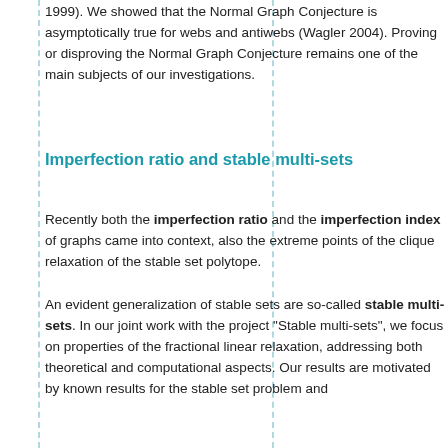1999). We showed that the Normal Graph Conjecture is asymptotically true for webs and antiwebs (Wagler 2004). Proving or disproving the Normal Graph Conjecture remains one of the main subjects of our investigations.
Imperfection ratio and stable multi-sets
Recently both the imperfection ratio and the imperfection index of graphs came into context, also the extreme points of the clique relaxation of the stable set polytope.
An evident generalization of stable sets are so-called stable multi-sets. In our joint work with the project "Stable multi-sets", we focus on properties of the fractional linear relaxation, addressing both theoretical and computational aspects. Our results are motivated by known results for the stable set problem and